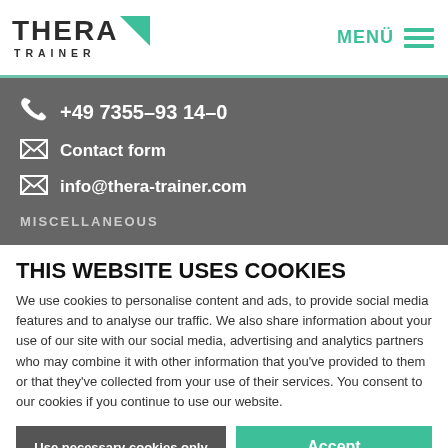THERA TRAINER — MENÜ
+49 7355-93 14-0
Contact form
info@thera-trainer.com
MISCELLANEOUS
THIS WEBSITE USES COOKIES
We use cookies to personalise content and ads, to provide social media features and to analyse our traffic. We also share information about your use of our site with our social media, advertising and analytics partners who may combine it with other information that you've provided to them or that they've collected from your use of their services. You consent to our cookies if you continue to use our website.
Use necessary cookies only
Accept
Show details